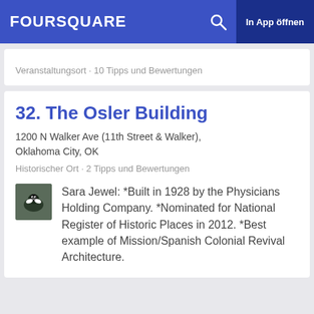FOURSQUARE  In App öffnen
Veranstaltungsort · 10 Tipps und Bewertungen
32. The Osler Building
1200 N Walker Ave (11th Street & Walker), Oklahoma City, OK
Historischer Ort · 2 Tipps und Bewertungen
Sara Jewel: *Built in 1928 by the Physicians Holding Company. *Nominated for National Register of Historic Places in 2012. *Best example of Mission/Spanish Colonial Revival Architecture.